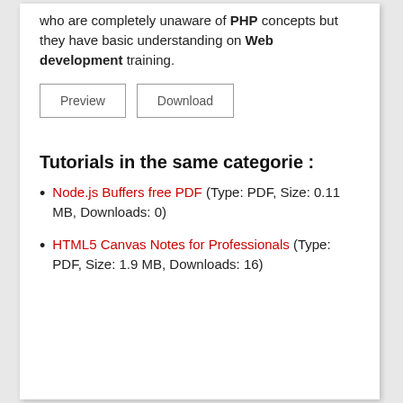who are completely unaware of PHP concepts but they have basic understanding on Web development training.
Preview   Download
Tutorials in the same categorie :
Node.js Buffers free PDF (Type: PDF, Size: 0.11 MB, Downloads: 0)
HTML5 Canvas Notes for Professionals (Type: PDF, Size: 1.9 MB, Downloads: 16)